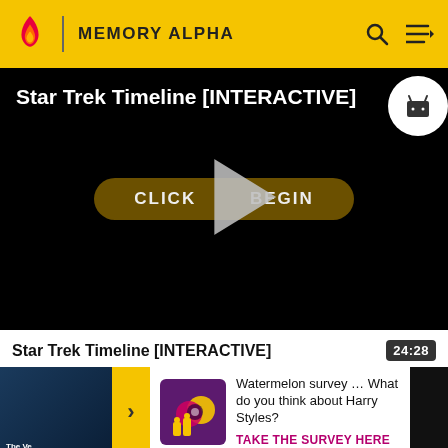MEMORY ALPHA
[Figure (screenshot): Video thumbnail for Star Trek Timeline [INTERACTIVE] on a black background with a play button overlay and a 'CLICK TO BEGIN' button]
Star Trek Timeline [INTERACTIVE]
24:28
[Figure (infographic): Advertisement banner: Watermelon survey image thumbnail on the left, arrow navigation, survey ad content with text 'Watermelon survey … What do you think about Harry Styles?' and CTA 'TAKE THE SURVEY HERE']